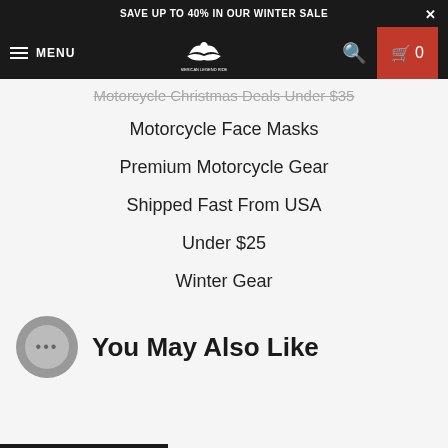SAVE UP TO 40% IN OUR WINTER SALE
[Figure (screenshot): Navigation bar with hamburger menu (MENU), American Legend Rider logo, search icon, and cart button showing 0 items]
Motorcycle Christmas Deals Under $35
Motorcycle Face Masks
Premium Motorcycle Gear
Shipped Fast From USA
Under $25
Winter Gear
You May Also Like